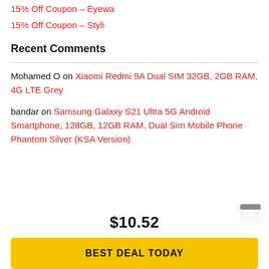15% Off Coupon – Eyewa
15% Off Coupon – Styli
Recent Comments
Mohamed O on Xiaomi Redmi 9A Dual SIM 32GB, 2GB RAM, 4G LTE Grey
bandar on Samsung Galaxy S21 Ultra 5G Android Smartphone, 128GB, 12GB RAM, Dual Sim Mobile Phone Phantom Silver (KSA Version)
$10.52
BEST DEAL TODAY